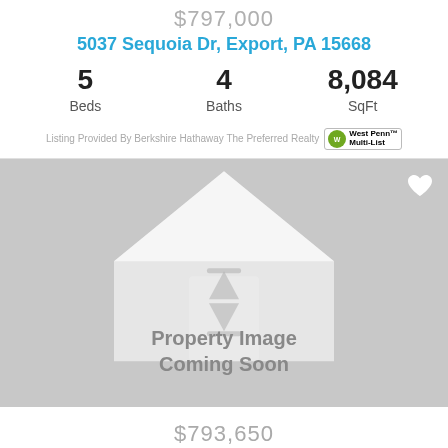$797,000
5037 Sequoia Dr, Export, PA 15668
| Beds | Baths | SqFt |
| --- | --- | --- |
| 5 | 4 | 8,084 |
Listing Provided By Berkshire Hathaway The Preferred Realty [West Penn Multi-List logo]
[Figure (illustration): Property image coming soon placeholder with house silhouette icon and hourglass icon. Gray background with white house outline, text reads 'Property Image Coming Soon'. White heart icon in top right corner.]
$793,650
4200 Castlewood Ct, Export, PA 15632
| Beds | Baths | SqFt |
| --- | --- | --- |
| 3 | 4 | n/a |